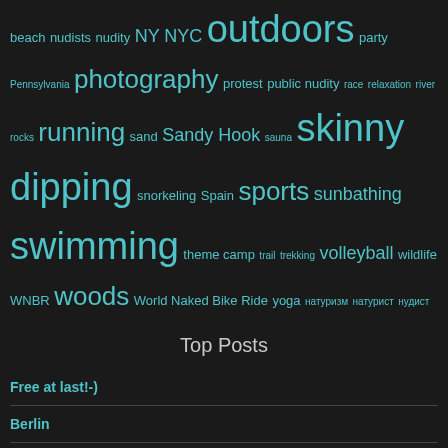beach nudists nudity NY NYC outdoors party Pennsylvania photography protest public nudity race relaxation river rocks running sand Sandy Hook sauna skinny dipping snorkeling Spain sports sunbathing swimming theme camp trail trekking volleyball wildlife WNBR woods World Naked Bike Ride yoga натуризм натурист нудист
Top Posts
Free at last!-)
Berlin